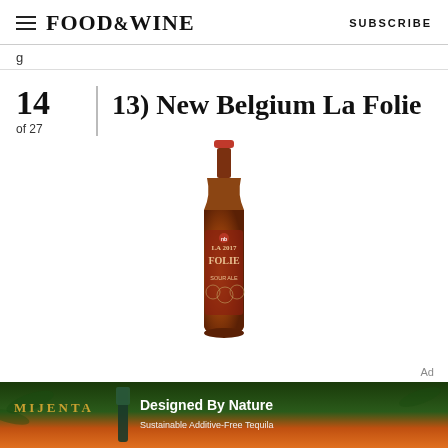FOOD&WINE   SUBSCRIBE
g
13) New Belgium La Folie
14 of 27
[Figure (photo): A bottle of New Belgium La Folie 2017 sour ale, amber glass bottle with red cap and label reading LA 2017 FOLIE SOUR ALE]
Ad
[Figure (photo): Mijenta tequila advertisement banner with bottle image, text reading 'Designed By Nature - Sustainable Additive-Free Tequila' over a sunset/tropical landscape background]